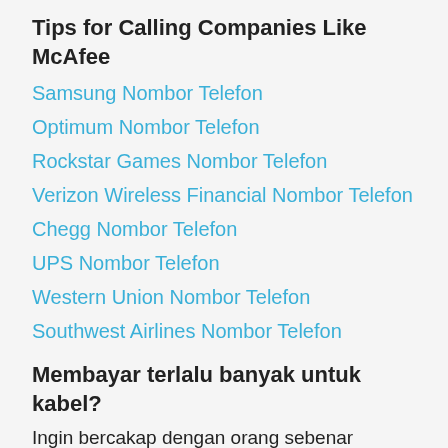Tips for Calling Companies Like McAfee
Samsung Nombor Telefon
Optimum Nombor Telefon
Rockstar Games Nombor Telefon
Verizon Wireless Financial Nombor Telefon
Chegg Nombor Telefon
UPS Nombor Telefon
Western Union Nombor Telefon
Southwest Airlines Nombor Telefon
Membayar terlalu banyak untuk kabel?
Ingin bercakap dengan orang sebenar sekarang yang